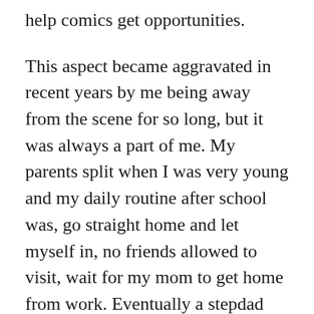help comics get opportunities.
This aspect became aggravated in recent years by me being away from the scene for so long, but it was always a part of me. My parents split when I was very young and my daily routine after school was, go straight home and let myself in, no friends allowed to visit, wait for my mom to get home from work. Eventually a stepdad was added to the mix and then, at age 10, I wasn’t an only child anymore, but the routine was the same. As a result, I spent a lot of time alone.
Not that I had to disappoint friends who wanted to hang but weren’t allowed. After my mom met